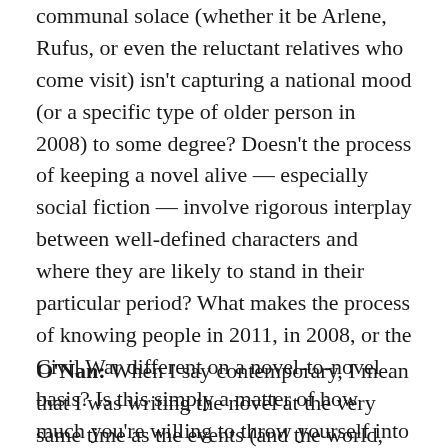that this materialist solace competing with the communal solace (whether it be Arlene, Rufus, or even the reluctant relatives who come visit) isn't capturing a national mood (or a specific type of older person in 2008) to some degree? Doesn't the process of keeping a novel alive — especially social fiction — involve rigorous interplay between well-defined characters and where they are likely to stand in their particular period? What makes the process of knowing people in 2011, in 2008, or the Civil War different on a novel-to-novel basis? Is this simply a matter of how much you're willing to throw yourself into a time period or talk with people or think about these motivations?
O'Nan: When I say contemporary, I mean that I was writing the novel at the very same time as the events (and the world, the moment) it describes. So that